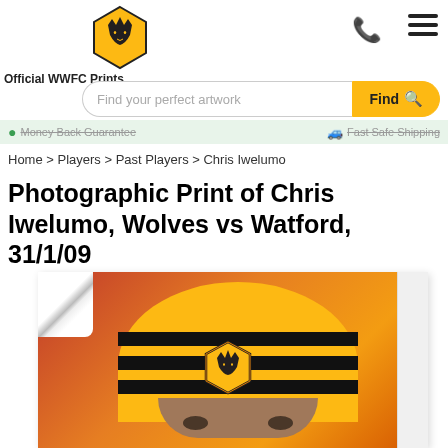Official WWFC Prints
Find your perfect artwork
Money Back Guarantee  Fast Safe Shipping
Home > Players > Past Players > Chris Iwelumo
Photographic Print of Chris Iwelumo, Wolves vs Watford, 31/1/09
[Figure (photo): Person wearing a gold and black Wolverhampton Wanderers beanie hat with the Wolves crest badge, looking directly at camera against an orange/red blurred background.]